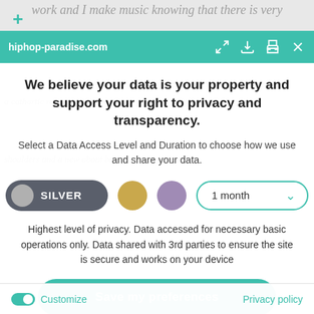[Figure (screenshot): Browser address bar showing hiphop-paradise.com with teal/green background and navigation icons]
We believe your data is your property and support your right to privacy and transparency.
Select a Data Access Level and Duration to choose how we use and share your data.
[Figure (infographic): Privacy controls row: Silver toggle pill, gold circle, purple circle, and 1 month dropdown selector]
Highest level of privacy. Data accessed for necessary basic operations only. Data shared with 3rd parties to ensure the site is secure and works on your device
Save my preferences
Customize
Privacy policy